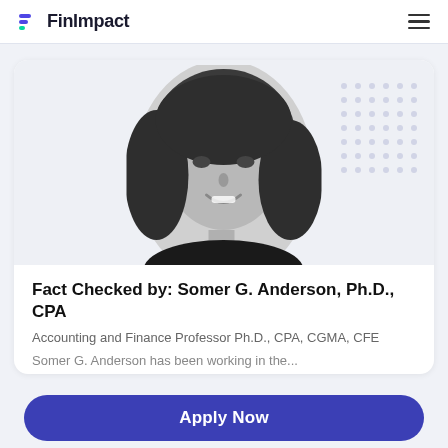FinImpact
[Figure (photo): Black and white headshot photo of Somer G. Anderson, a woman with straight dark hair, smiling, with a decorative dot grid pattern in the upper right background]
Fact Checked by: Somer G. Anderson, Ph.D., CPA
Accounting and Finance Professor Ph.D., CPA, CGMA, CFE
Somer G. Anderson has been working in the...